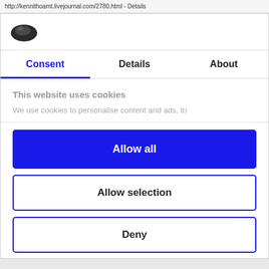http://kennithoamt.livejournal.com/2780.html - Details
[Figure (logo): Cookiebot logo - a cookie icon (dark oval with lighter interior oval)]
Consent | Details | About
This website uses cookies
We use cookies to personalise content and ads, to
Allow all
Allow selection
Deny
Powered by Cookiebot by Usercentrics